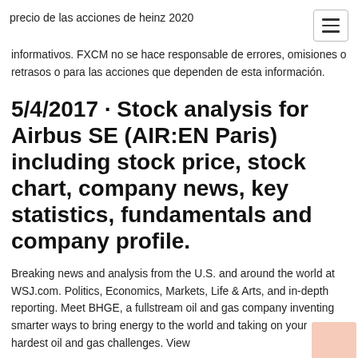precio de las acciones de heinz 2020
informativos. FXCM no se hace responsable de errores, omisiones o retrasos o para las acciones que dependen de esta información.
5/4/2017 · Stock analysis for Airbus SE (AIR:EN Paris) including stock price, stock chart, company news, key statistics, fundamentals and company profile.
Breaking news and analysis from the U.S. and around the world at WSJ.com. Politics, Economics, Markets, Life & Arts, and in-depth reporting. Meet BHGE, a fullstream oil and gas company inventing smarter ways to bring energy to the world and taking on your hardest oil and gas challenges. View more to below from 905786 1994 National Company and